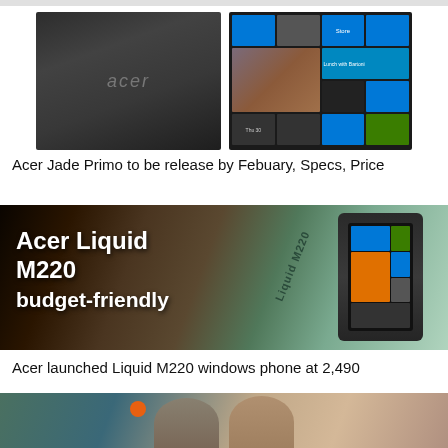[Figure (photo): Two smartphone product images side by side: left shows back of Acer device (dark grey brushed metal with Acer logo), right shows Windows Phone screen with colorful tiles]
Acer Jade Primo to be release by Febuary, Specs, Price
[Figure (photo): Acer Liquid M220 product box image with text overlay reading 'Acer Liquid M220 budget-friendly']
Acer launched Liquid M220 windows phone at 2,490
[Figure (photo): Two young people smiling outdoors, woman wearing orange bracelet and beanie hat, man in plaid shirt]